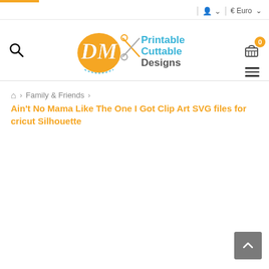DM Printable Cuttable Designs
Family & Friends > Ain't No Mama Like The One I Got Clip Art SVG files for cricut Silhouette
Ain't No Mama Like The One I Got Clip Art SVG files for cricut Silhouette